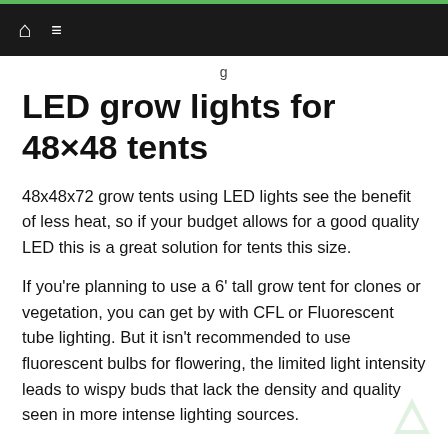g
LED grow lights for 48×48 tents
48x48x72 grow tents using LED lights see the benefit of less heat, so if your budget allows for a good quality LED this is a great solution for tents this size.
If you're planning to use a 6' tall grow tent for clones or vegetation, you can get by with CFL or Fluorescent tube lighting. But it isn't recommended to use fluorescent bulbs for flowering, the limited light intensity leads to wispy buds that lack the density and quality seen in more intense lighting sources.
LED lighting is a more expensive alternative than running HPS or MH lights. Quality matters with LEDs. Don't cheap out on LED lights for 48×48 grow tent setups, lower priced LEDs use cheaper diodes and use less